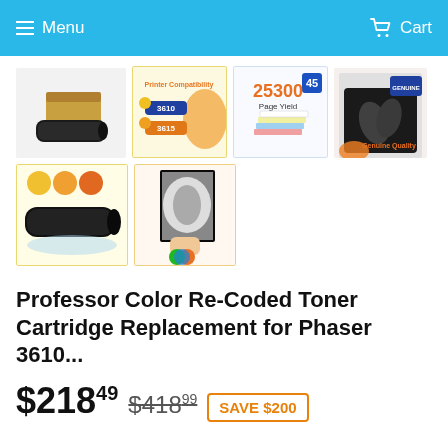Menu | Cart
[Figure (photo): Product image gallery showing toner cartridge: main product photo (black toner cartridge in box), printer compatibility chart (3610/3615), 25300 page yield chart, genuine quality image, two more product detail/demo images]
Professor Color Re-Coded Toner Cartridge Replacement for Phaser 3610...
$21849  $41899  SAVE $200